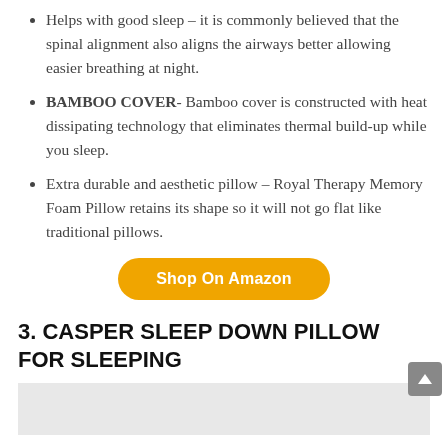Helps with good sleep – it is commonly believed that the spinal alignment also aligns the airways better allowing easier breathing at night.
BAMBOO COVER- Bamboo cover is constructed with heat dissipating technology that eliminates thermal build-up while you sleep.
Extra durable and aesthetic pillow – Royal Therapy Memory Foam Pillow retains its shape so it will not go flat like traditional pillows.
[Figure (other): Orange rounded button labeled 'Shop On Amazon']
3. CASPER SLEEP DOWN PILLOW FOR SLEEPING
[Figure (photo): Light gray image placeholder for Casper Sleep Down Pillow product photo]